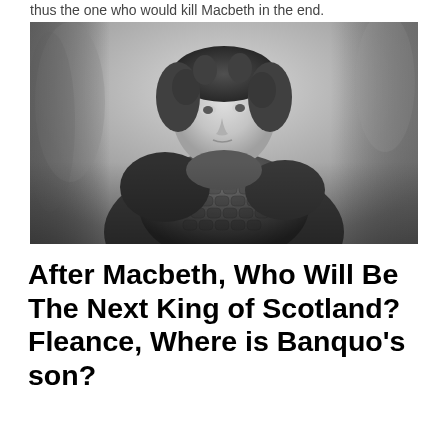thus the one who would kill Macbeth in the end.
[Figure (photo): Black and white photograph of a young man with curly hair wearing medieval scale armor, looking upward, set against a misty forest background.]
After Macbeth, Who Will Be The Next King of Scotland? Fleance, Where is Banquo's son?